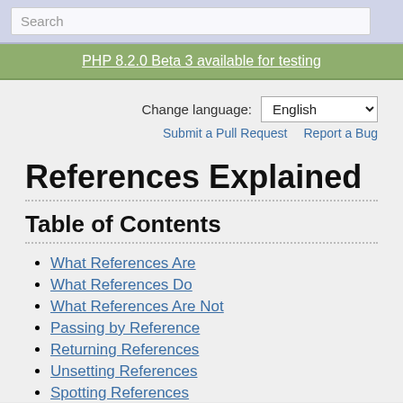Search
PHP 8.2.0 Beta 3 available for testing
Change language: English
Submit a Pull Request   Report a Bug
References Explained
Table of Contents
What References Are
What References Do
What References Are Not
Passing by Reference
Returning References
Unsetting References
Spotting References